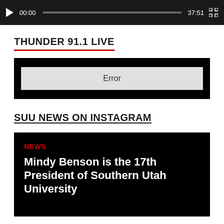[Figure (screenshot): Video player bar showing play button, timestamp 00:00, progress bar, end time 37:51, and fullscreen icon on dark background]
THUNDER 91.1 LIVE
[Figure (screenshot): Black media player box showing an Error message in a light grey input/display box]
SUU NEWS ON INSTAGRAM
[Figure (screenshot): Instagram news card with black background showing red NEWS tag and headline: Mindy Benson is the 17th President of Southern Utah University]